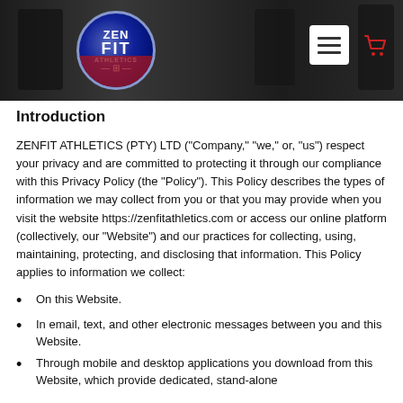ZenFit Athletics header with logo, hamburger menu, and cart icon
Introduction
ZENFIT ATHLETICS (PTY) LTD (“Company,” “we,” or, “us”) respect your privacy and are committed to protecting it through our compliance with this Privacy Policy (the “Policy”). This Policy describes the types of information we may collect from you or that you may provide when you visit the website https://zenfitathletics.com or access our online platform (collectively, our “Website”) and our practices for collecting, using, maintaining, protecting, and disclosing that information. This Policy applies to information we collect:
On this Website.
In email, text, and other electronic messages between you and this Website.
Through mobile and desktop applications you download from this Website, which provide dedicated, stand-alone